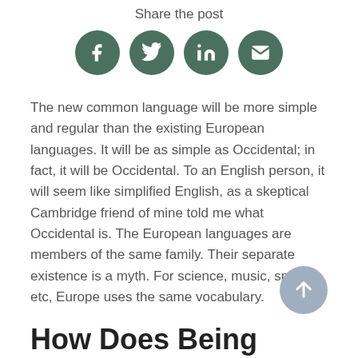Share the post
[Figure (infographic): Four circular social media sharing buttons: Facebook (f), Twitter (bird), LinkedIn (in), Email (envelope), all in dark green/teal color]
The new common language will be more simple and regular than the existing European languages. It will be as simple as Occidental; in fact, it will be Occidental. To an English person, it will seem like simplified English, as a skeptical Cambridge friend of mine told me what Occidental is. The European languages are members of the same family. Their separate existence is a myth. For science, music, sport, etc, Europe uses the same vocabulary.
How Does Being Overweight